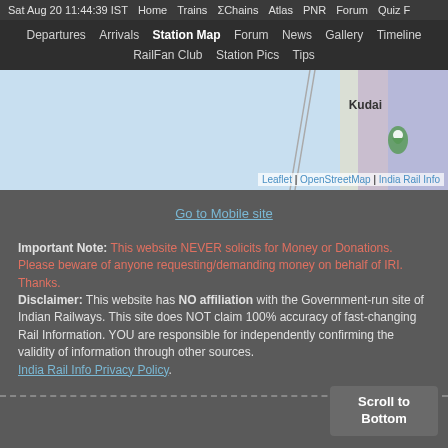Sat Aug 20 11:44:39 IST  Home  Trains  ΣChains  Atlas  PNR  Forum  Quiz F
Departures  Arrivals  Station Map  Forum  News  Gallery  Timeline  RailFan Club  Station Pics  Tips
[Figure (map): Partial map view showing Kudai area with road lines, OpenStreetMap attribution. Attribution: Leaflet | OpenStreetMap | India Rail Info]
Go to Mobile site
Important Note: This website NEVER solicits for Money or Donations. Please beware of anyone requesting/demanding money on behalf of IRI. Thanks.
Disclaimer: This website has NO affiliation with the Government-run site of Indian Railways. This site does NOT claim 100% accuracy of fast-changing Rail Information. YOU are responsible for independently confirming the validity of information through other sources.
India Rail Info Privacy Policy.